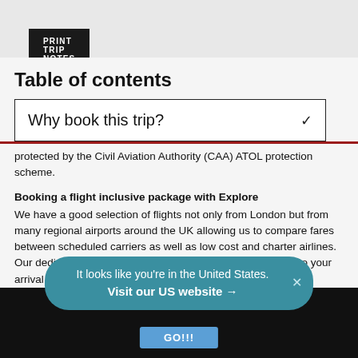PRINT TRIP NOTES
Table of contents
Why book this trip?
protected by the Civil Aviation Authority (CAA) ATOL protection scheme.
Booking a flight inclusive package with Explore
We have a good selection of flights not only from London but from many regional airports around the UK allowing us to compare fares between scheduled carriers as well as low cost and charter airlines. Our dedicated flights team will match the best flight options to your arrival and departure airport.
On our website we display a UK flight inclusive package guide price which is generally based on a London departure. To avoid paying supplements or to secure your preferred flight option, we recommend booking as early as possible, especially for peak travel
It looks like you're in the United States.
Visit our US website →